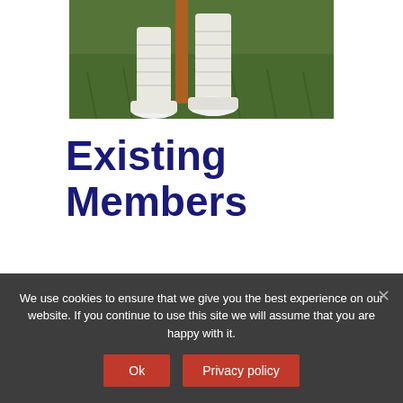[Figure (photo): A cricket player near a wicket/stump on a green grass field, showing legs in white cricket pads and white shoes, with a wooden stump visible.]
Existing Members
Membership is more than
We use cookies to ensure that we give you the best experience on our website. If you continue to use this site we will assume that you are happy with it.
Ok
Privacy policy